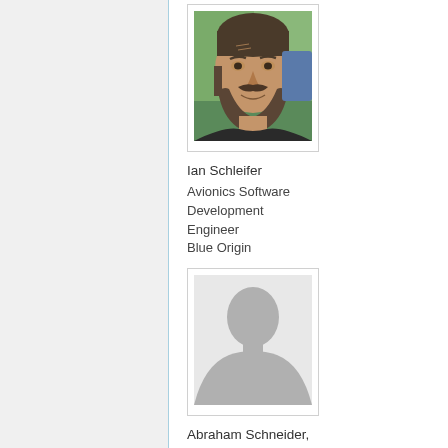[Figure (photo): Profile photo of Ian Schleifer, man with beard outdoors near water]
Ian Schleifer
Avionics Software Development Engineer
Blue Origin
[Figure (photo): Default placeholder silhouette profile photo for Abraham Schneider]
Abraham Schneider,